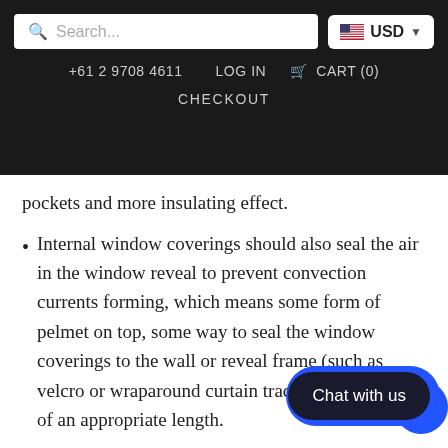Search... | USD | +61 2 9708 4611 | LOG IN | CART (0) | CHECKOUT
pockets and more insulating effect.
Internal window coverings should also seal the air in the window reveal to prevent convection currents forming, which means some form of pelmet on top, some way to seal the window coverings to the wall or reveal frame (such as velcro or wraparound curtain tracks) and coverings of an appropriate length.
7. SHADING